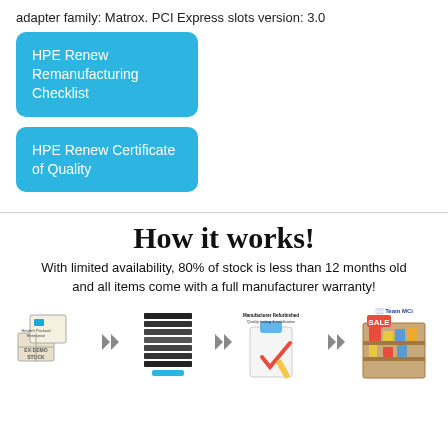adapter family: Matrox. PCI Express slots version: 3.0
[Figure (other): Rounded blue button/tile labeled 'HPE Renew Remanufacturing Checklist']
[Figure (other): Rounded blue button/tile labeled 'HPE Renew Certificate of Quality']
How it works!
With limited availability, 80% of stock is less than 12 months old and all items come with a full manufacturer warranty!
[Figure (infographic): Row of four icons with arrows between them: boxes labeled Hewlett Packard Enterprise / EX-DEMO STOCK, a building/stack icon, a Manufacturer Refurbished Quality testing & certification clipboard icon, and a Team MCi sale shelf icon.]